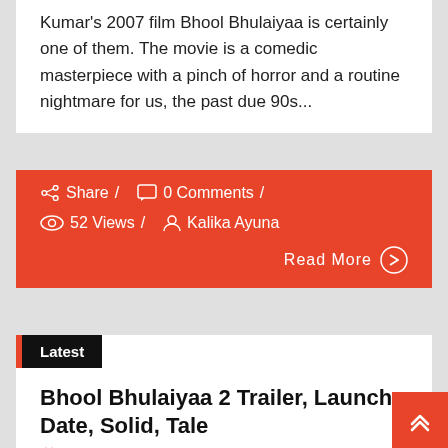Kumar's 2007 film Bhool Bhulaiyaa is certainly one of them. The movie is a comedic masterpiece with a pinch of horror and a routine nightmare for us, the past due 90s...
Share / 0 Comments / 52 Views / Kalika Ayuna
Read More
Latest
Bhool Bhulaiyaa 2 Trailer, Launch Date, Solid, Tale
May 21, 2022
The teaser for Bhool Bhulaiyaa 2,